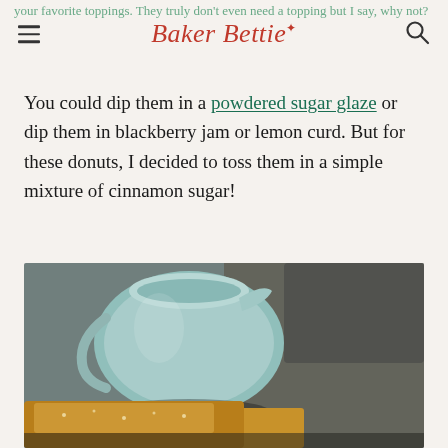Baker Bettie
your favorite toppings. They truly don't even need a topping but I say why not?
You could dip them in a powdered sugar glaze or dip them in blackberry jam or lemon curd. But for these donuts, I decided to toss them in a simple mixture of cinnamon sugar!
[Figure (photo): A light blue ceramic pitcher/creamer with a donut in the foreground, on a dark surface with blurred background]